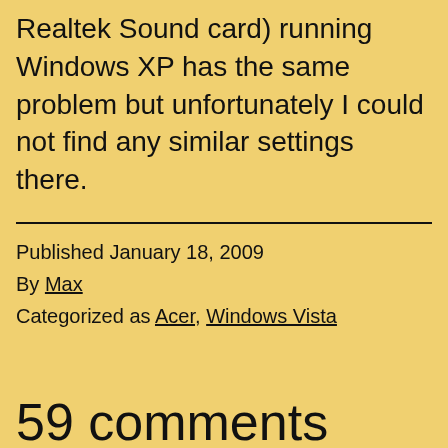Realtek Sound card) running Windows XP has the same problem but unfortunately I could not find any similar settings there.
Published January 18, 2009
By Max
Categorized as Acer, Windows Vista
59 comments